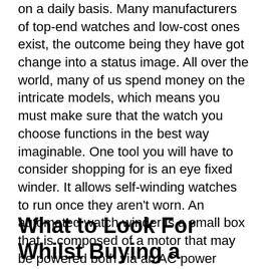on a daily basis. Many manufacturers of top-end watches and low-cost ones exist, the outcome being they have got change into a status image. All over the world, many of us spend money on the intricate models, which means you must make sure that the watch you choose functions in the best way imaginable. One tool you will have to consider shopping for is an eye fixed winder. It allows self-winding watches to run once they aren't worn. An automated watch winder is a small box that is composed of a motor that may be powered both via an AC power supply or through a battery supply. It spins the cup by way of keeping your watch in place. In this informative post, we'll have a look at features to imagine while shopping for the most productive watch winder.
What to Look For Whilst Buying a